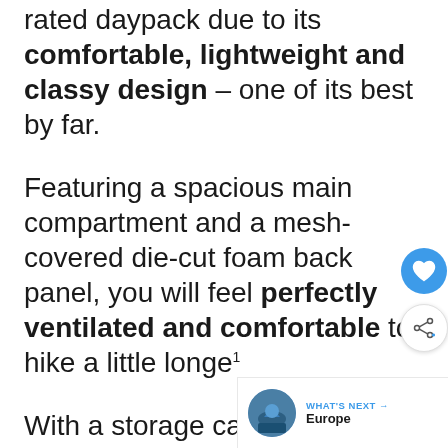rated daypack due to its comfortable, lightweight and classy design – one of its best by far.
Featuring a spacious main compartment and a mesh-covered die-cut foam back panel, you will feel perfectly ventilated and comfortable to hike a little longe¹
With a storage capacity of 2... easily attachable with other packs,